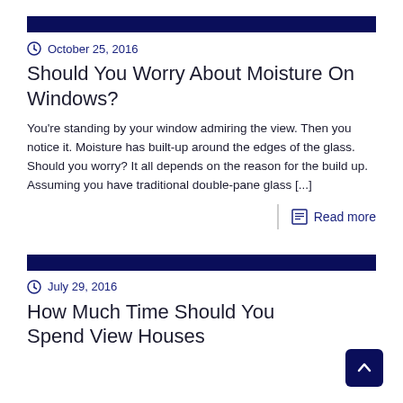October 25, 2016
Should You Worry About Moisture On Windows?
You're standing by your window admiring the view. Then you notice it. Moisture has built-up around the edges of the glass. Should you worry? It all depends on the reason for the build up. Assuming you have traditional double-pane glass [...]
Read more
July 29, 2016
How Much Time Should You Spend View Houses